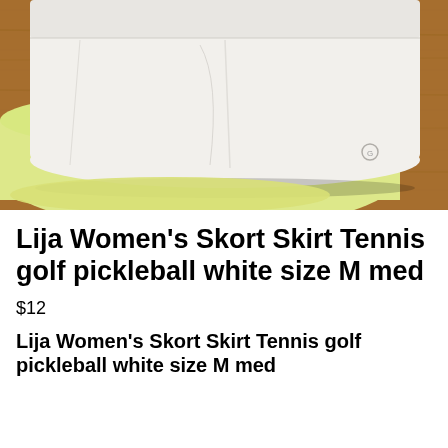[Figure (photo): Photo of two athletic skorts laid on a wooden floor surface — a white skort on top and a pale yellow/light green skort partially visible underneath]
Lija Women's Skort Skirt Tennis golf pickleball white size M med
$12
Lija Women's Skort Skirt Tennis golf pickleball white size M med